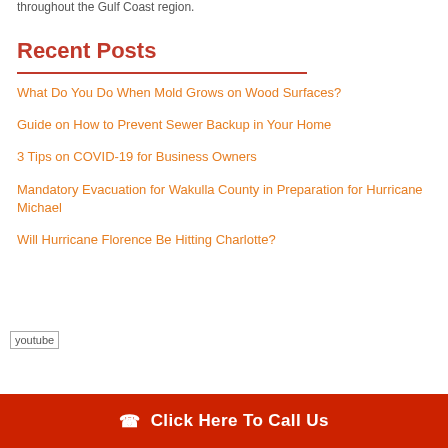throughout the Gulf Coast region.
Recent Posts
What Do You Do When Mold Grows on Wood Surfaces?
Guide on How to Prevent Sewer Backup in Your Home
3 Tips on COVID-19 for Business Owners
Mandatory Evacuation for Wakulla County in Preparation for Hurricane Michael
Will Hurricane Florence Be Hitting Charlotte?
[Figure (other): youtube logo/icon image placeholder]
Click Here To Call Us